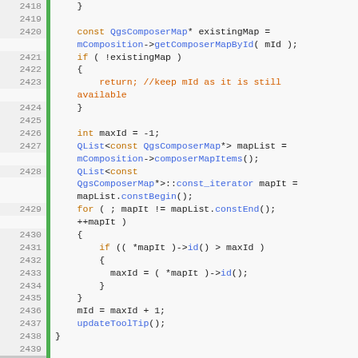[Figure (screenshot): Source code listing in C++ showing lines 2418-2442 of a QGIS QgsComposerMap implementation, with syntax highlighting: line numbers in grey on left, green vertical bar markers, keywords in orange, types and function names in blue, comments in orange-red, plain code in dark/black.]